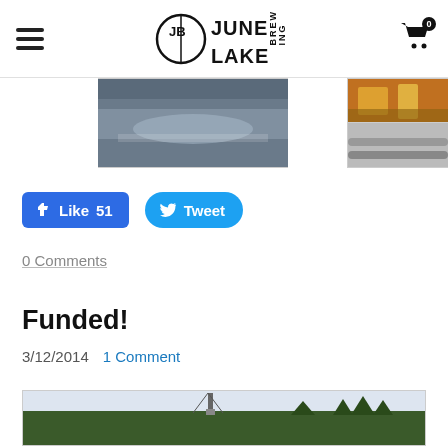June Lake Brewing — navigation bar with hamburger menu and cart
[Figure (photo): Aerial or landscape photo of a snowy mountain scene, center of page]
[Figure (photo): Close-up photo of brewing equipment, orange/yellow tones, top right]
[Figure (photo): Close-up photo of brewing pipe or hose, bottom right]
Like 51   Tweet
0 Comments
Funded!
3/12/2014   1 Comment
[Figure (photo): Street-level photo showing industrial structure with a crane or tower amid pine trees in winter]